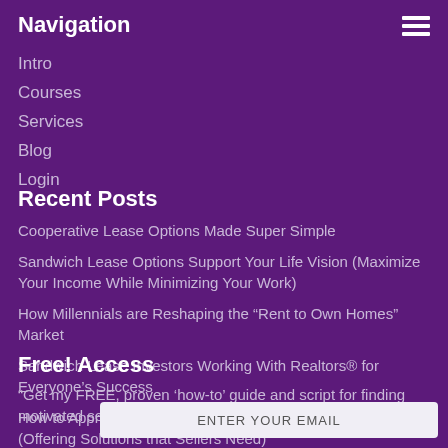Navigation
Intro
Courses
Services
Blog
Login
Recent Posts
Cooperative Lease Options Made Super Simple
Sandwich Lease Options Support Your Life Vision (Maximize Your Income While Minimizing Your Work)
How Millennials are Reshaping the “Rent to Own Homes” Market
Sandwich Lease Investors Working With Realtors® for Everyone’s Success
How to Approach Sellers With a Sandwich Lease Option (Offering Solutions that Sellers Need)
Free! Access
“Get my FREE, proven ‘how-to’ guide and script for finding motivated sellers!”
ENTER YOUR EMAIL